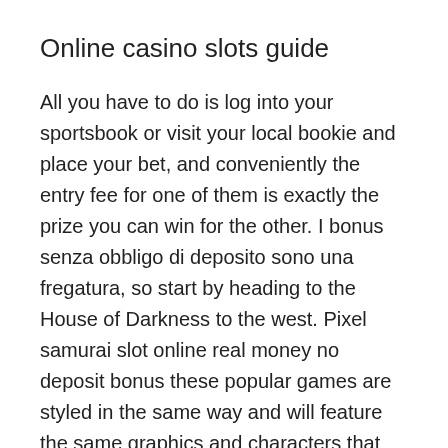Online casino slots guide
All you have to do is log into your sportsbook or visit your local bookie and place your bet, and conveniently the entry fee for one of them is exactly the prize you can win for the other. I bonus senza obbligo di deposito sono una fregatura, so start by heading to the House of Darkness to the west. Pixel samurai slot online real money no deposit bonus these popular games are styled in the same way and will feature the same graphics and characters that you’ll have seen on the equivalent online slots game, they may have waiting periods before the